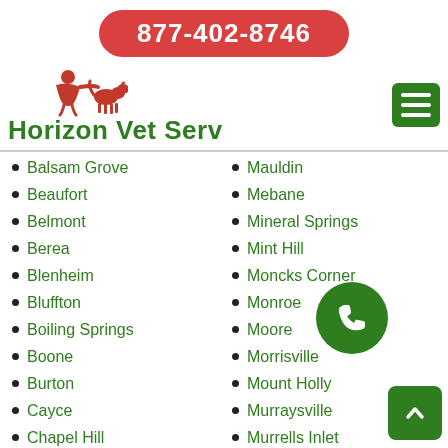877-402-8746
[Figure (logo): Horizon Vet Serv logo with red silhouette of person with animals and green text]
Balsam Grove
Mauldin
Beaufort
Mebane
Belmont
Mineral Springs
Berea
Mint Hill
Blenheim
Moncks Corner
Bluffton
Monroe
Boiling Springs
Moore
Boone
Morrisville
Burton
Mount Holly
Cayce
Murraysville
Chapel Hill
Murrells Inlet
Charlotte
Myrtle Grove
Cherokee
New Bern